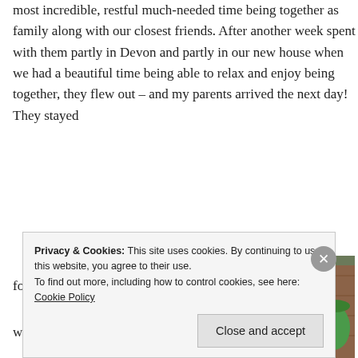most incredible, restful much-needed time being together as family along with our closest friends. After another week spent with them partly in Devon and partly in our new house when we had a beautiful time being able to relax and enjoy being together, they flew out – and my parents arrived the next day! They stayed for a week and we had a great
[Figure (photo): Two women leaning over two young children outdoors, in front of a wooden barn/fence with trees and green lawn. The children are wearing blue hoodies.]
Privacy & Cookies: This site uses cookies. By continuing to use this website, you agree to their use.
To find out more, including how to control cookies, see here: Cookie Policy
Close and accept